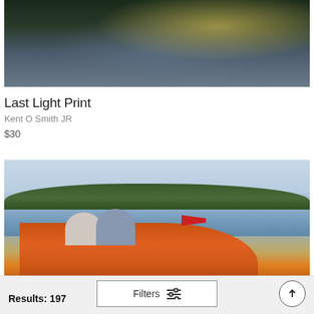[Figure (photo): Landscape photo showing trees and water with golden light reflecting off a lake at dusk]
Last Light Print
Kent O Smith JR
$30
[Figure (photo): Photo of two people riding a classic red wooden motorboat on a lake with green trees in background]
Results: 197
Filters